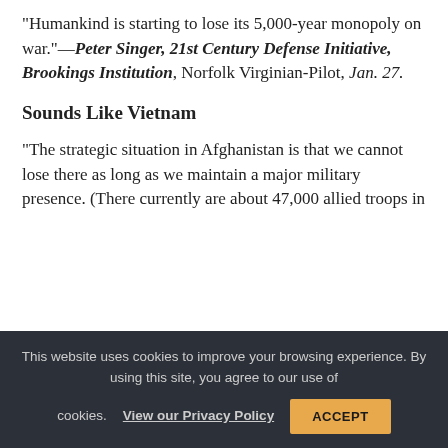“Humankind is starting to lose its 5,000-year monopoly on war.”—Peter Singer, 21st Century Defense Initiative, Brookings Institution, Norfolk Virginian-Pilot, Jan. 27.
Sounds Like Vietnam
“The strategic situation in Afghanistan is that we cannot lose there as long as we maintain a major military presence. (There currently are about 47,000 allied troops in
This website uses cookies to improve your browsing experience. By using this site, you agree to our use of cookies. View our Privacy Policy ACCEPT